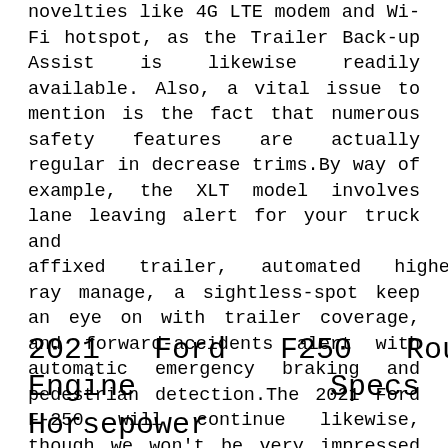novelties like 4G LTE modem and Wi-Fi hotspot, as the Trailer Back-up Assist is likewise readily available. Also, a vital issue to mention is the fact that numerous safety features are actually regular in decrease trims.By way of example, the XLT model involves lane leaving alert for your truck and affixed trailer, automated higher-ray manage, a sightless-spot keep an eye on with trailer coverage, and forward-accidents alert with automatic emergency braking and pedestrian detection.The 2021 Ford F-250 will continue likewise, though we won't be very impressed whenever we see a couple of developments as well.
2021 Ford F250 Roush Engine Specs Horsepower